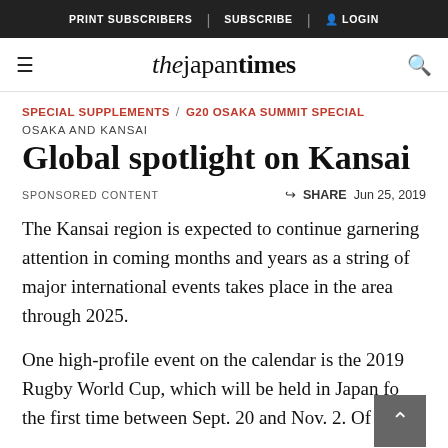PRINT SUBSCRIBERS | SUBSCRIBE | LOGIN
the japan times
SPECIAL SUPPLEMENTS / G20 OSAKA SUMMIT SPECIAL
OSAKA AND KANSAI
Global spotlight on Kansai
SPONSORED CONTENT   SHARE   Jun 25, 2019
The Kansai region is expected to continue garnering attention in coming months and years as a string of major international events takes place in the area through 2025.
One high-profile event on the calendar is the 2019 Rugby World Cup, which will be held in Japan for the first time between Sept. 20 and Nov. 2. Of the